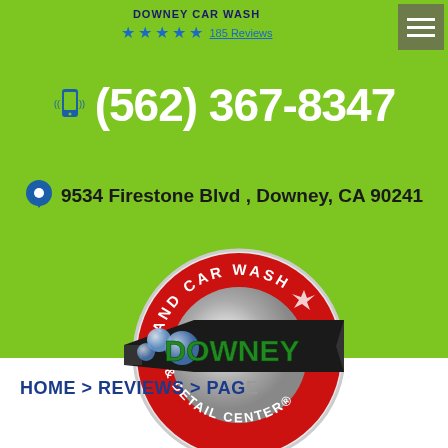DOWNEY CAR WASH
185 Reviews (5 stars)
(562) 367-8347
9534 Firestone Blvd , Downey, CA 90241
[Figure (logo): Downey Hand Car Wash & Detail Center circular logo with red ring, silver center, and banner reading DOWNEY in green letters]
HOME > REVIEWS > PAGE